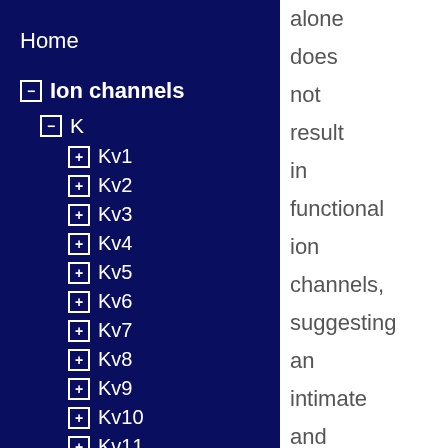Home
Ion channels
K
Kv1
Kv2
Kv3
Kv4
Kv5
Kv6
Kv7
Kv8
Kv9
Kv10
Kv11
Kv12
Kir
alone does not result in functional ion channels, suggesting an intimate and requisite interaction between these two subunits.